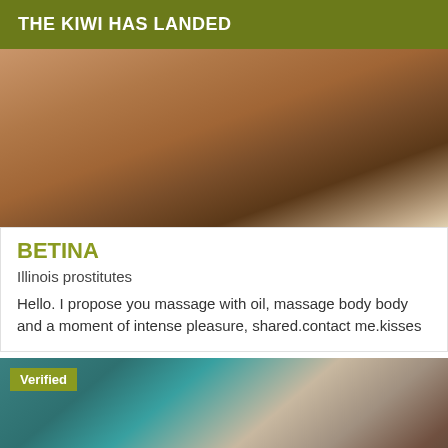THE KIWI HAS LANDED
[Figure (photo): Close-up photo of person's legs in a short white skirt near a wooden surface]
BETINA
Illinois prostitutes
Hello. I propose you massage with oil, massage body body and a moment of intense pleasure, shared.contact me.kisses
[Figure (photo): Photo of a person wearing a teal/green top, with a 'Verified' badge overlay in the top-left corner]